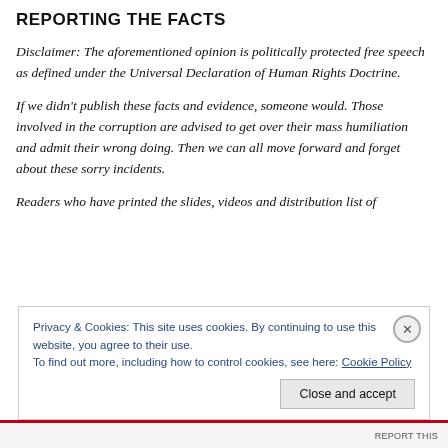REPORTING THE FACTS
Disclaimer: The aforementioned opinion is politically protected free speech as defined under the Universal Declaration of Human Rights Doctrine.
If we didn't publish these facts and evidence, someone would. Those involved in the corruption are advised to get over their mass humiliation and admit their wrong doing. Then we can all move forward and forget about these sorry incidents.
Readers who have printed the slides, videos and distribution list of
Privacy & Cookies: This site uses cookies. By continuing to use this website, you agree to their use.
To find out more, including how to control cookies, see here: Cookie Policy
Close and accept
REPORT THIS